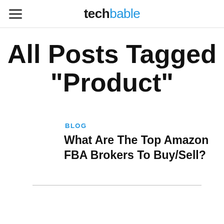techbable
All Posts Tagged "Product"
BLOG
What Are The Top Amazon FBA Brokers To Buy/Sell?